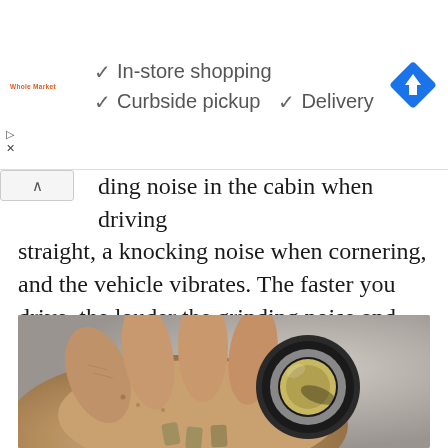[Figure (screenshot): Advertisement banner showing store options: In-store shopping, Curbside pickup, Delivery with a blue diamond navigation icon. Store logo shown as 'Whole Market' in red text.]
ding noise in the cabin when driving straight, a knocking noise when cornering, and the vehicle vibrates. The faster you drive, the louder the grinding noise and stronger the vibration.
[Figure (photo): A mechanic's dirty hand holding a worn/damaged wheel bearing assembly with loose roller elements visible.]